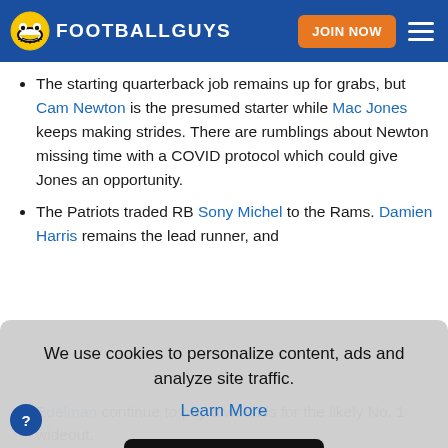FOOTBALLGUYS — JOIN NOW
The starting quarterback job remains up for grabs, but Cam Newton is the presumed starter while Mac Jones keeps making strides. There are rumblings about Newton missing time with a COVID protocol which could give Jones an opportunity.
The Patriots traded RB Sony Michel to the Rams. Damien Harris remains the lead runner, and
We use cookies to personalize content, ads and analyze site traffic.
Learn More
OKAY
Edelman continue to pay dividends for the likely No. 1 wideout.